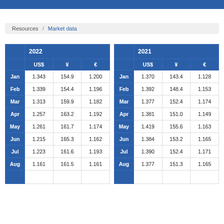Resources / Market data
|  | 2022 |  |  |  | 2021 |  |  |
| --- | --- | --- | --- | --- | --- | --- | --- |
|  | US$ | ¥ | € |  | US$ | ¥ | € |
| Jan | 1.343 | 154.9 | 1.200 | Jan | 1.370 | 143.4 | 1.128 |
| Feb | 1.339 | 154.4 | 1.196 | Feb | 1.392 | 148.4 | 1.153 |
| Mar | 1.313 | 159.9 | 1.182 | Mar | 1.377 | 152.4 | 1.174 |
| Apr | 1.257 | 163.2 | 1.192 | Apr | 1.381 | 151.0 | 1.149 |
| May | 1.261 | 161.7 | 1.174 | May | 1.419 | 155.6 | 1.163 |
| Jun | 1.215 | 165.3 | 1.162 | Jun | 1.384 | 153.2 | 1.165 |
| Jul | 1.223 | 161.6 | 1.193 | Jul | 1.390 | 152.4 | 1.171 |
| Aug | 1.161 | 161.5 | 1.161 | Aug | 1.377 | 151.3 | 1.165 |